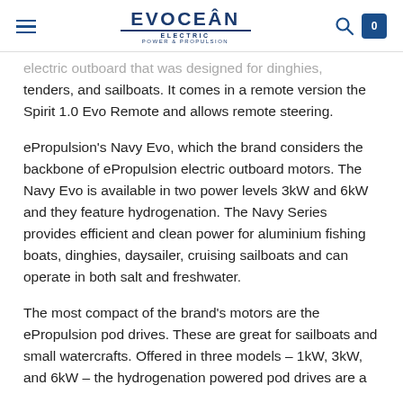EVOCEAN ELECTRIC POWER & PROPULSION
electric outboard that was designed for dinghies, tenders, and sailboats. It comes in a remote version the Spirit 1.0 Evo Remote and allows remote steering.
ePropulsion's Navy Evo, which the brand considers the backbone of ePropulsion electric outboard motors. The Navy Evo is available in two power levels 3kW and 6kW and they feature hydrogenation. The Navy Series provides efficient and clean power for aluminium fishing boats, dinghies, daysailer, cruising sailboats and can operate in both salt and freshwater.
The most compact of the brand's motors are the ePropulsion pod drives. These are great for sailboats and small watercrafts. Offered in three models – 1kW, 3kW, and 6kW – the hydrogenation powered pod drives are a